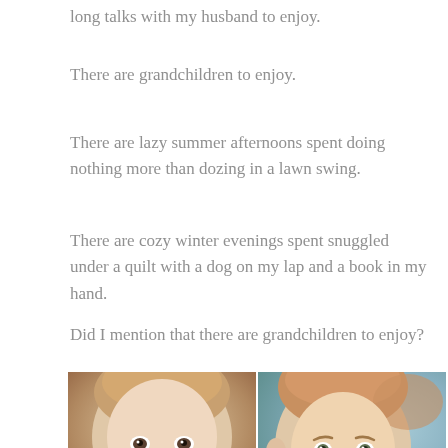long talks with my husband to enjoy.
There are grandchildren to enjoy.
There are lazy summer afternoons spent doing nothing more than dozing in a lawn swing.
There are cozy winter evenings spent snuggled under a quilt with a dog on my lap and a book in my hand.
Did I mention that there are grandchildren to enjoy?
[Figure (photo): Close-up photo of a smiling baby with light brown hair]
[Figure (photo): Photo of a toddler with reddish-brown hair looking at the camera, light blue background]